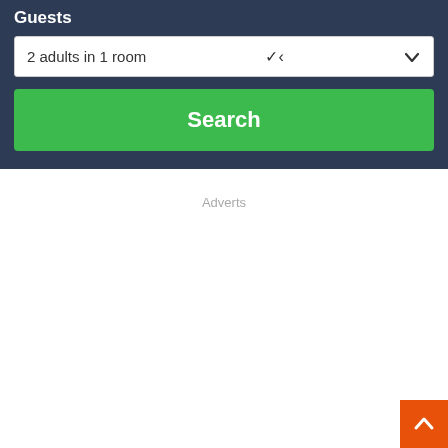Guests
2 adults in 1 room
Search
Adverts
[Figure (other): Orange back-to-top button with upward chevron arrow in bottom-right corner]